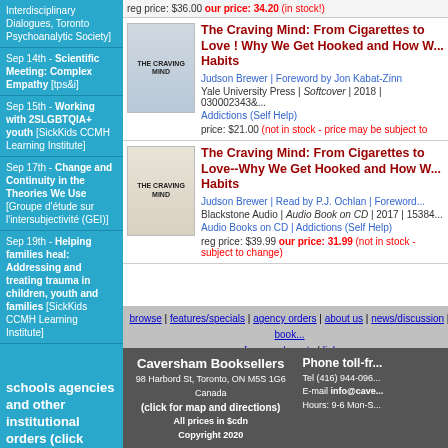Interdisciplinary Dialogues, Toronto Psychoanalytic Society]
Sep 14th - Scientific Meeting: Complex Empathy [tps&i]
Sep 15th - Working with 2SLGBTQIA+ youth [SickKids CCMH Learning Institute]
Sep 17th - Change and Continuity in the Theories We Use [Groupe d'étude sur l'intersubjectivité (GEI)]
Sep 19th - Helping families heal: Addressing and treating trauma in children, youth and families [SickKids CCMH Learning Institute]
schools agencies and other institutional orders (click here)
reg price: $36.00 our price: 34.20 (in stock!)
[Figure (photo): Book cover: The Craving Mind]
The Craving Mind: From Cigarettes to Love ! Why We Get Hooked and How We Can Break Bad Habits
Judson Brewer | Foreword by Jon Kabat-Zinn
Yale University Press | Softcover | 2018 | 0300234364
Addictions (Self Help)
price: $21.00 (not in stock - price may be subject to change)
[Figure (photo): Book cover: The Craving Mind audio]
The Craving Mind: From Cigarettes to Love--Why We Get Hooked and How We Can Break Bad Habits
Judson Brewer | Read by P.J. Ochlan | Foreword by Jon Kabat-Zinn
Blackstone Audio | Audio Book on CD | 2017 | 153840...
Audio Books on CD | Addictions (Self Help)
reg price: $39.99 our price: 31.99 (not in stock - price may be subject to change)
browse | features/specials | agency orders | about us | news/discussion | book... | conferences/events | links... | check cart
Caversham Booksellers | 98 Harbord St, Toronto, ON M5S 1G6 Canada | (click for map and directions) | All prices in $cdn | Copyright 2020 | Phone toll-fr... | Tel (416) 944-096... | E-mail info@cave... | Hours: 9-6 Mon-S...